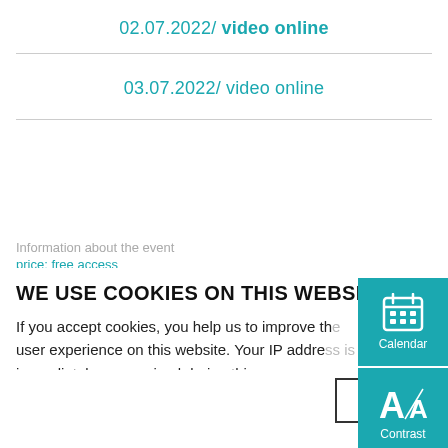02.07.2022/ video online
03.07.2022/ video online
Information about the event
WE USE COOKIES ON THIS WEBSITE
If you accept cookies, you help us to improve the user experience on this website. Your IP address is immediately anonymized during this process, so that you as a user remain anonymous to us. More information
[Figure (infographic): Calendar icon button (teal background, white calendar SVG icon, label 'Calendar')]
[Figure (infographic): Contrast icon button (teal background, white letter A contrast SVG icon, label 'Contrast')]
price: free access
Location: online
Kattalin Newiger Mitxolena
studied BA Theatre and Education in Mainz and La Réunion, France and MA Performance Studies, Dance and Choreography in Hamburg and Bilbao, Spain. As a choreographer and dancer she explores: how
Accept
No, thanks.